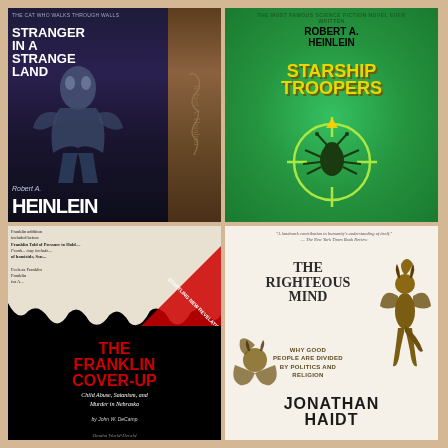[Figure (photo): Four book covers arranged in a 2x2 grid on a tan/sandy background. Top-left: 'Stranger in a Strange Land' by Robert A. Heinlein, dark blue/purple cover with stylized figure. Top-right: 'Starship Troopers' by Robert A. Heinlein, bright green cover with yellow title and crosshair/bug graphic. Bottom-left: 'The Franklin Cover-Up: Child Abuse, Satanism, and Murder in Nebraska' by John W. DeCamp, black cover with newspaper background and red text. Bottom-right: 'The Righteous Mind: Why Good People Are Divided by Politics and Religion' by Jonathan Haidt, cream/white cover with demon figure illustrations.]